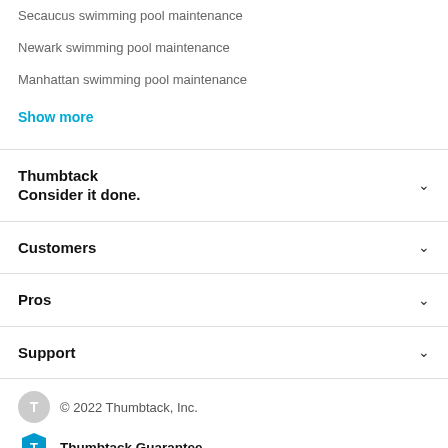Secaucus swimming pool maintenance
Newark swimming pool maintenance
Manhattan swimming pool maintenance
Show more
Thumbtack
Consider it done.
Customers
Pros
Support
© 2022 Thumbtack, Inc.
Thumbtack Guarantee